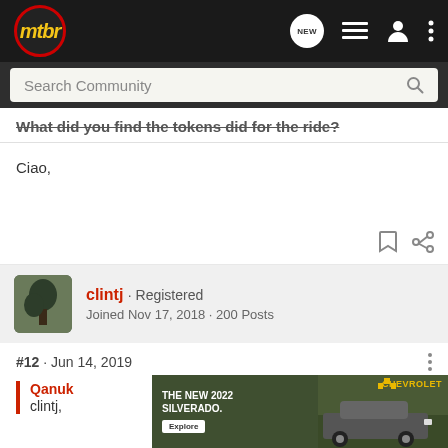mtbr — navigation bar with search
What did you find the tokens did for the ride?
Ciao,
clintj · Registered
Joined Nov 17, 2018 · 200 Posts
#12 · Jun 14, 2019
Qanuk
clintj,
[Figure (screenshot): Chevrolet Silverado 2022 advertisement banner with car image, text 'THE NEW 2022 SILVERADO.' and Explore button]